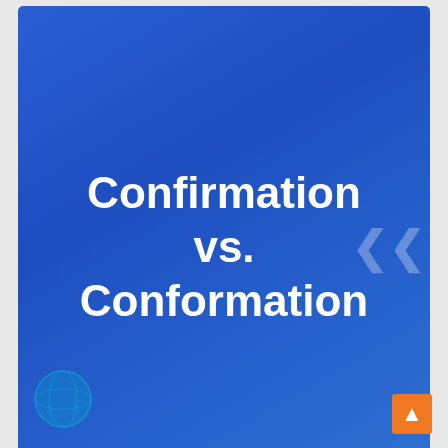[Figure (screenshot): Blue gradient slide card with title 'Confirmation vs. Conformation' in bold white text, globe decorative element bottom-left, and a right chevron navigation arrow on the right side]
Confirmation vs. Conformation
Confirmation vs. Conformation
[Figure (screenshot): Purple/indigo gradient slide card with title 'Dynamic vs. Static' in bold white text and a right chevron navigation arrow, partially visible at bottom of page]
Dynamic vs. Static